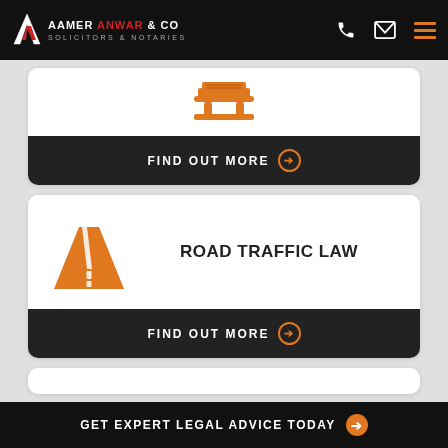[Figure (logo): Aamer Anwar & Co Solicitors & Notaries logo with stylized A icon]
[Figure (illustration): Books/documents icon in orange, partial card at top]
FIND OUT MORE
[Figure (illustration): Road/traffic icon in orange showing a road converging to horizon]
ROAD TRAFFIC LAW
FIND OUT MORE
GET EXPERT LEGAL ADVICE TODAY